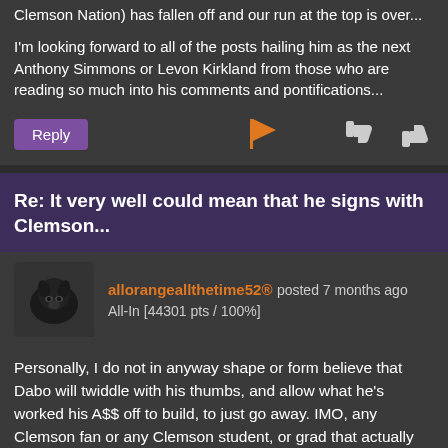Clemson Nation) has fallen off and our run at the top is over...
I'm looking forward to all of the posts hailing him as the next Anthony Simmons or Levon Kirkland from those who are reading so much into his comments and pontifications...
Reply
Re: It very well could mean that he signs with Clemson...
allorangeallthetime52® posted 7 months ago
All-In [44301 pts / 100%]
Personally, I do not in anyway shape or form believe that Dabo will twiddle with his thumbs, and allow what he's worked his A$$ off to build, to just go away. IMO, any Clemson fan or any Clemson student, or grad that actually believes that, they have never had any trust in Dabo anyway. They